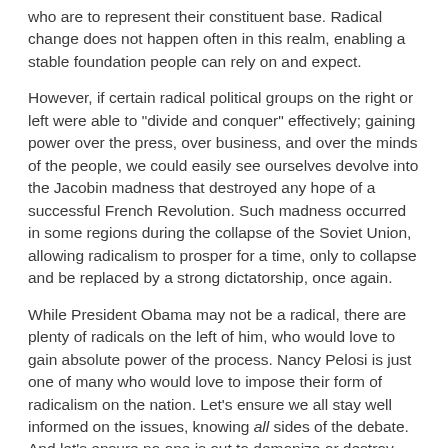who are to represent their constituent base. Radical change does not happen often in this realm, enabling a stable foundation people can rely on and expect.
However, if certain radical political groups on the right or left were able to "divide and conquer" effectively; gaining power over the press, over business, and over the minds of the people, we could easily see ourselves devolve into the Jacobin madness that destroyed any hope of a successful French Revolution. Such madness occurred in some regions during the collapse of the Soviet Union, allowing radicalism to prosper for a time, only to collapse and be replaced by a strong dictatorship, once again.
While President Obama may not be a radical, there are plenty of radicals on the left of him, who would love to gain absolute power of the process. Nancy Pelosi is just one of many who would love to impose their form of radicalism on the nation. Let's ensure we all stay well informed on the issues, knowing all sides of the debate. And let's ensure no one is out to demonize or destroy our nation piece by piece, as the Jacobins did during the French Revolution.